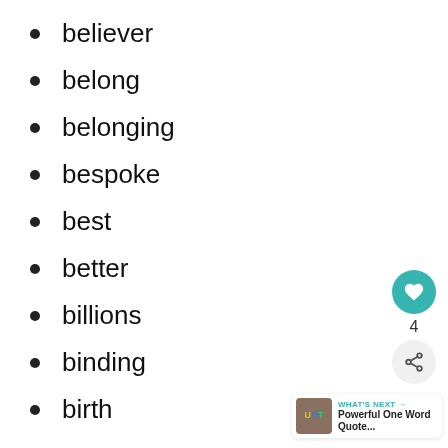believer
belong
belonging
bespoke
best
better
billions
binding
birth
[Figure (infographic): UI overlay with heart button (teal), count of 4, share button, and a 'What's Next' card showing 'Powerful One Word Quote...']